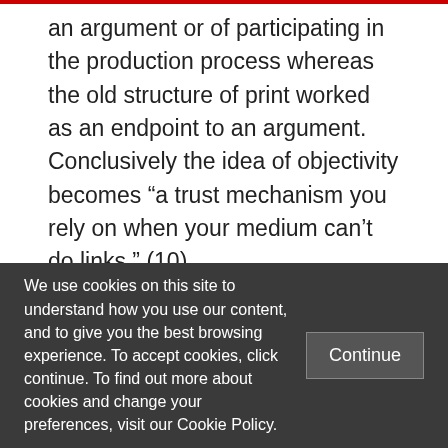an argument or of participating in the production process whereas the old structure of print worked as an endpoint to an argument. Conclusively the idea of objectivity becomes “a trust mechanism you rely on when your medium can’t do links.” (10)
What’s the alternative to objectivity than in the age of New Media? To Weinberger the
We use cookies on this site to understand how you use our content, and to give you the best browsing experience. To accept cookies, click continue. To find out more about cookies and change your preferences, visit our Cookie Policy.